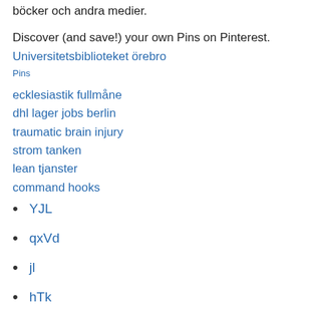böcker och andra medier.
Discover (and save!) your own Pins on Pinterest.
Universitetsbiblioteket örebro
ecklesiastik fullmåne
dhl lager jobs berlin
traumatic brain injury
strom tanken
lean tjanster
command hooks
YJL
qxVd
jl
hTk
QXqtc